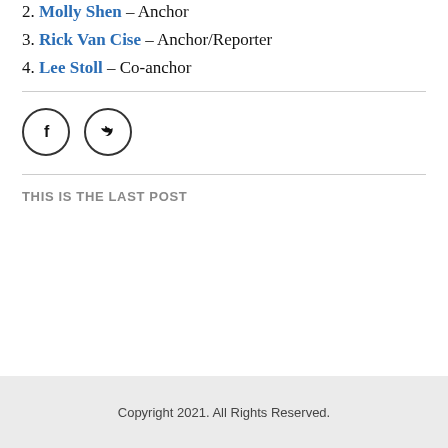2. Molly Shen – Anchor
3. Rick Van Cise – Anchor/Reporter
4. Lee Stoll – Co-anchor
[Figure (illustration): Two circular social media icon buttons: Facebook (f) and Twitter (bird icon)]
THIS IS THE LAST POST
Copyright 2021. All Rights Reserved.